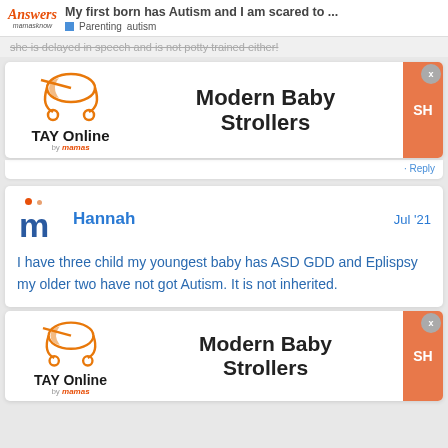My first born has Autism and I am scared to ... | Parenting autism
she is delayed in speech and is not potty trained either!
[Figure (advertisement): TAY Online by mamas advertisement for Modern Baby Strollers with orange shop button]
• Reply
Hannah | Jul '21
I have three child my youngest baby has ASD GDD and Eplispsy my older two have not got Autism. It is not inherited.
[Figure (advertisement): TAY Online by mamas advertisement for Modern Baby Strollers with orange shop button]